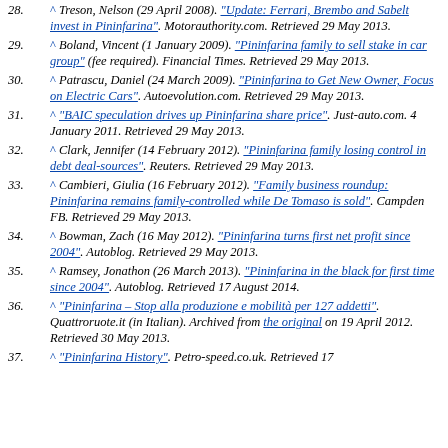28. ^ Treson, Nelson (29 April 2008). "Update: Ferrari, Brembo and Sabelt invest in Pininfarina". Motorauthority.com. Retrieved 29 May 2013.
29. ^ Boland, Vincent (1 January 2009). "Pininfarina family to sell stake in car group" (fee required). Financial Times. Retrieved 29 May 2013.
30. ^ Patrascu, Daniel (24 March 2009). "Pininfarina to Get New Owner, Focus on Electric Cars". Autoevolution.com. Retrieved 29 May 2013.
31. ^ "BAIC speculation drives up Pininfarina share price". Just-auto.com. 4 January 2011. Retrieved 29 May 2013.
32. ^ Clark, Jennifer (14 February 2012). "Pininfarina family losing control in debt deal-sources". Reuters. Retrieved 29 May 2013.
33. ^ Cambieri, Giulia (16 February 2012). "Family business roundup: Pininfarina remains family-controlled while De Tomaso is sold". Campden FB. Retrieved 29 May 2013.
34. ^ Bowman, Zach (16 May 2012). "Pininfarina turns first net profit since 2004". Autoblog. Retrieved 29 May 2013.
35. ^ Ramsey, Jonathon (26 March 2013). "Pininfarina in the black for first time since 2004". Autoblog. Retrieved 17 August 2014.
36. ^ "Pininfarina – Stop alla produzione e mobilità per 127 addetti". Quattroruote.it (in Italian). Archived from the original on 19 April 2012. Retrieved 30 May 2013.
37. ^ "Pininfarina History". Petro-speed.co.uk. Retrieved 17...